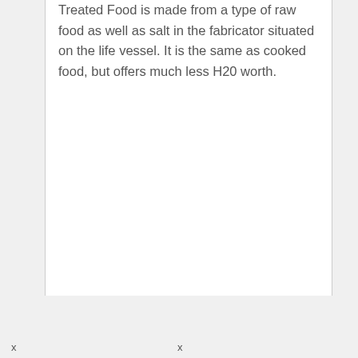Treated Food is made from a type of raw food as well as salt in the fabricator situated on the life vessel. It is the same as cooked food, but offers much less H20 worth.